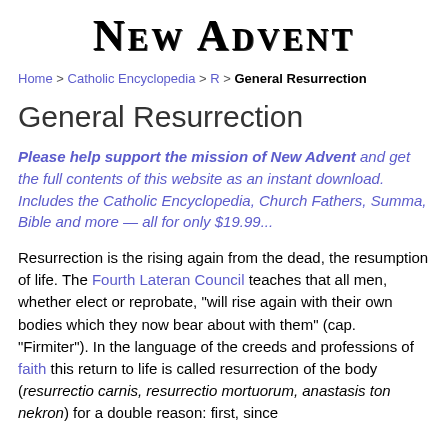New Advent
Home > Catholic Encyclopedia > R > General Resurrection
General Resurrection
Please help support the mission of New Advent and get the full contents of this website as an instant download. Includes the Catholic Encyclopedia, Church Fathers, Summa, Bible and more — all for only $19.99...
Resurrection is the rising again from the dead, the resumption of life. The Fourth Lateran Council teaches that all men, whether elect or reprobate, "will rise again with their own bodies which they now bear about with them" (cap. "Firmiter"). In the language of the creeds and professions of faith this return to life is called resurrection of the body (resurrectio carnis, resurrectio mortuorum, anastasis ton nekron) for a double reason: first, since